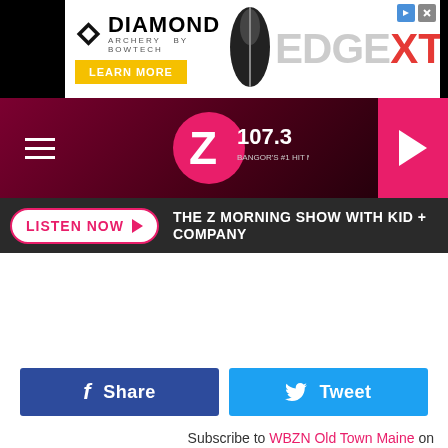[Figure (screenshot): Diamond Archery Edge XT advertisement banner with logo, bow image, and Learn More button]
[Figure (logo): Z107.3 radio station logo with navigation hamburger menu and play button]
LISTEN NOW ▶   THE Z MORNING SHOW WITH KID + COMPANY
Share
Tweet
Subscribe to WBZN Old Town Maine on